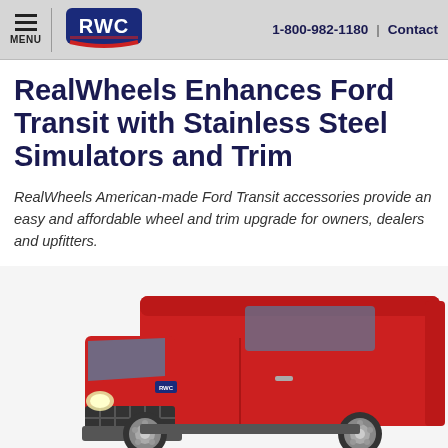1-800-982-1180 | Contact
RealWheels Enhances Ford Transit with Stainless Steel Simulators and Trim
RealWheels American-made Ford Transit accessories provide an easy and affordable wheel and trim upgrade for owners, dealers and upfitters.
[Figure (photo): Red Ford Transit cargo van with stainless steel wheel simulators and trim, photographed from the front-left angle.]